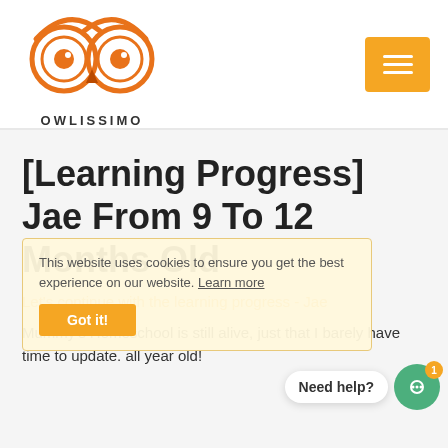[Figure (logo): Owlissimo owl logo — orange circular owl face with two large eyes, orange beak, eyebrows arched upward, with text OWLISSIMO below]
[Learning Progress] Jae From 9 To 12 Months Old
Let's continue with the learning progress - Jae
This website uses cookies to ensure you get the best experience on our website. Learn more
Got it!
Mummy's Homeschool is still alive, just that I barely have time to update. ... all year old!
Need help?